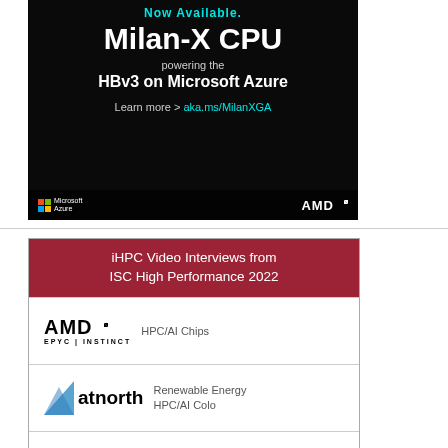[Figure (illustration): AMD advertisement for Milan-X CPU powering HBv3 on Microsoft Azure. Dark background with text: 'Now Available.', 'Milan-X CPU', 'powering the', 'HBv3 on Microsoft Azure', 'Learn more > aka.ms/MilanXGA'. Microsoft Azure logo bottom left, AMD logo bottom right.]
[Figure (infographic): iHPC Video Interviews from ISC High Performance 2022 panel. Contains AMD EPYC INSTINCT (HPC/AI Chips), atnorth (Renewable Energy HPC/AI Colo), Atos (HPC/AI Systems)]